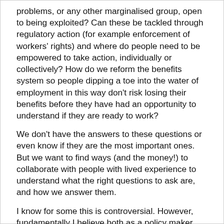problems, or any other marginalised group, open to being exploited? Can these be tackled through regulatory action (for example enforcement of workers' rights) and where do people need to be empowered to take action, individually or collectively? How do we reform the benefits system so people dipping a toe into the water of employment in this way don't risk losing their benefits before they have had an opportunity to understand if they are ready to work?
We don't have the answers to these questions or even know if they are the most important ones. But we want to find ways (and the money!) to collaborate with people with lived experience to understand what the right questions to ask are, and how we answer them.
I know for some this is controversial. However, fundamentally I believe both as a policy maker and someone living with mental health problems that we should support people to make their own choices. Just